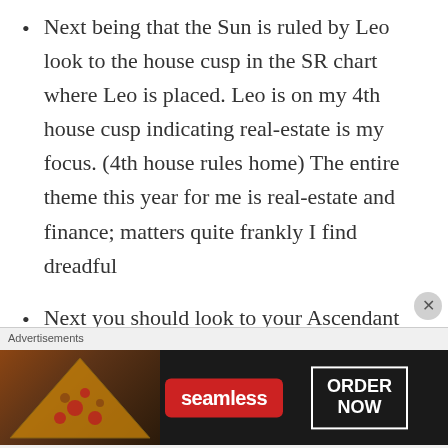Next being that the Sun is ruled by Leo look to the house cusp in the SR chart where Leo is placed. Leo is on my 4th house cusp indicating real-estate is my focus. (4th house rules home) The entire theme this year for me is real-estate and finance; matters quite frankly I find dreadful
Next you should look to your Ascendant (the sign this will change from year to year), thus adding color to your personality and the house
[Figure (other): Advertisement banner for Seamless food delivery service showing pizza image on left, Seamless red badge in center, and ORDER NOW button on right with dark background]